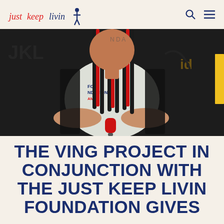just keep livin [logo with navigation icons for search and menu]
[Figure (photo): A person with long black and red braids wearing a white t-shirt with 'FOUNDATION' text, arms crossed, holding a red microphone, against a dark background with partial text visible]
THE VING PROJECT IN CONJUNCTION WITH THE JUST KEEP LIVIN FOUNDATION GIVES